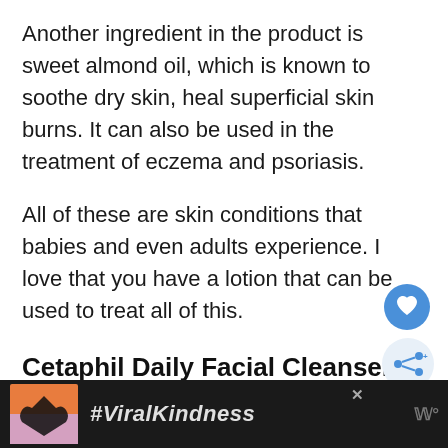Another ingredient in the product is sweet almond oil, which is known to soothe dry skin, heal superficial skin burns. It can also be used in the treatment of eczema and psoriasis.
All of these are skin conditions that babies and even adults experience. I love that you have a lotion that can be used to treat all of this.
Cetaphil Daily Facial Cleanser
[Figure (screenshot): Advertisement banner with dark background showing hands forming a heart shape silhouette against a colorful sky, with text '#ViralKindness' and a media logo on the right, and a close button (X) in the upper right area.]